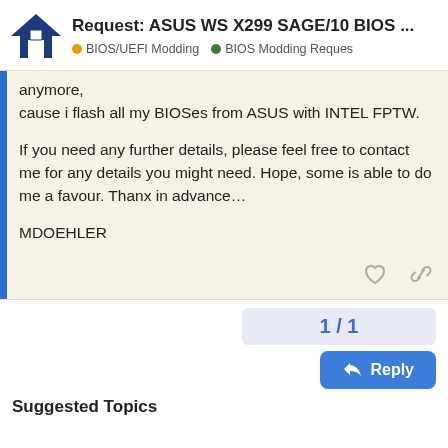Request: ASUS WS X299 SAGE/10 BIOS ... | BIOS/UEFI Modding | BIOS Modding Reques
anymore,
cause i flash all my BIOSes from ASUS with INTEL FPTW.

If you need any further details, please feel free to contact me for any details you might need. Hope, some is able to do me a favour. Thanx in advance…

MDOEHLER
1 / 1
Reply
Suggested Topics